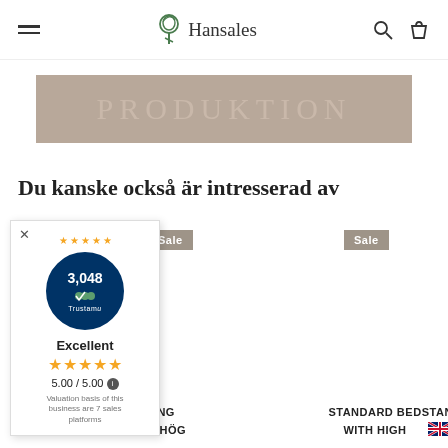Hansales
[Figure (screenshot): Hansales website header with hamburger menu, tree logo with 'Hansales' text, search icon, and shopping bag icon]
PRODUKTION
Du kanske också är intresserad av
[Figure (other): Trustami popup widget showing 3,048 reviews, Excellent rating, 5.00/5.00 stars, valuation basis of 7 sales platforms]
Sale
Sale
SÄNG MED HÖG
STANDARD BED WITH HIGH
STANDAR D